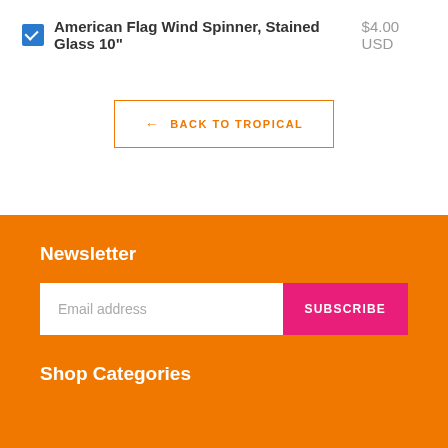American Flag Wind Spinner, Stained Glass 10" $4.00 USD
← BACK TO TROPICAL
Newsletter
Email address
SUBSCRIBE
Shop Categories